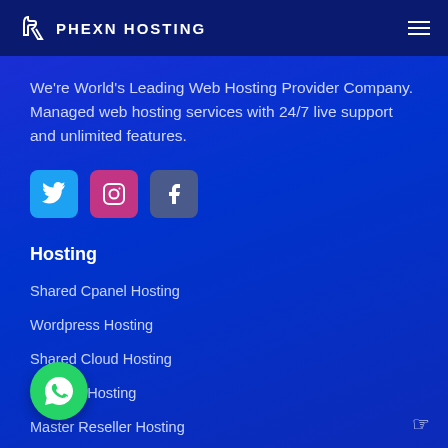PHEXN HOSTING
We're World's Leading Web Hosting Provider Company. Managed web hosting services with 24/7 live support and unlimited features.
[Figure (infographic): Social media icons: Twitter (blue), Instagram (pink/purple), Facebook (grey-blue)]
Hosting
Shared Cpanel Hosting
Wordpress Hosting
Shared Cloud Hosting
Reseller Hosting
Master Reseller Hosting
Other Services
Domain Registration